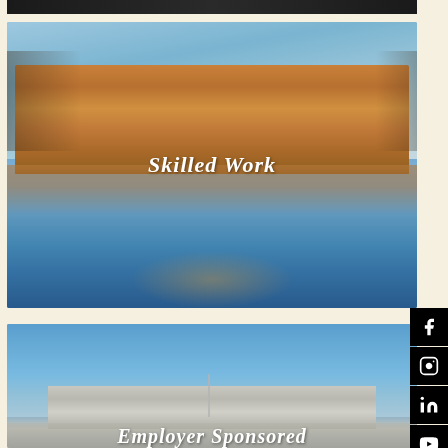[Figure (photo): Aerial or cityscape photo strip at top, partially cropped]
[Figure (photo): Nighttime photo of a historic sandstone building with warm lights reflected in calm water, overlaid with italic bold text 'Skilled Work']
Skilled Work
[Figure (photo): Twilight photo of Parliament House Canberra with blue sky, overlaid with partially visible italic bold text 'Employer Sponsored']
Employer Sponsored